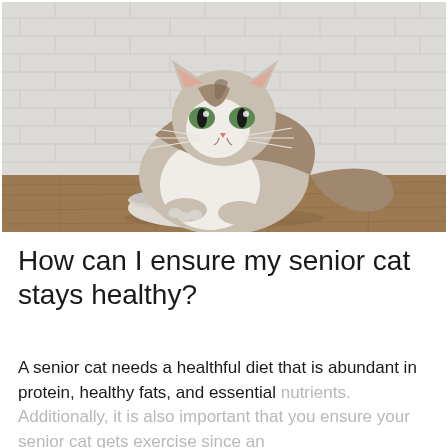[Figure (photo): A tabby and white cat with green eyes sitting on a wooden floor in front of a white bowl, against a white brick wall background.]
How can I ensure my senior cat stays healthy?
A senior cat needs a healthful diet that is abundant in protein, healthy fats, and essential nutrients. Additionally, it is also important that you ensure your senior cat gets exercise since an